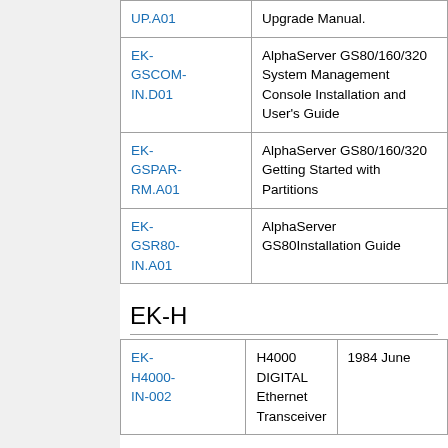| Code | Description |
| --- | --- |
| UP.A01 | Upgrade Manual. |
| EK-GSCOM-IN.D01 | AlphaServer GS80/160/320 System Management Console Installation and User's Guide |
| EK-GSPAR-RM.A01 | AlphaServer GS80/160/320 Getting Started with Partitions |
| EK-GSR80-IN.A01 | AlphaServer GS80Installation Guide |
EK-H
| Code | Description | Date |
| --- | --- | --- |
| EK-H4000-IN-002 | H4000 DIGITAL Ethernet Transceiver | 1984 June |